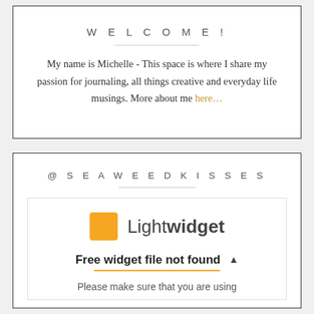WELCOME!
My name is Michelle - This space is where I share my passion for journaling, all things creative and everyday life musings. More about me here...
@SEAWEEDKISSES
[Figure (screenshot): Lightwidget error box showing an orange square logo next to 'Lightwidget' text, with bold text 'Free widget file not found' and an orange underline, followed by text 'Please make sure that you are using']